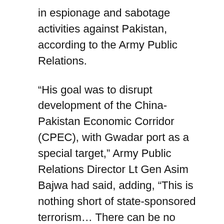in espionage and sabotage activities against Pakistan, according to the Army Public Relations.
“His goal was to disrupt development of the China-Pakistan Economic Corridor (CPEC), with Gwadar port as a special target,” Army Public Relations Director Lt Gen Asim Bajwa had said, adding, “This is nothing short of state-sponsored terrorism… There can be no clearer evidence of Indian interference in Pakistan.”
Jadhav was tried by Field General Court Martial (FGCM) under Section 59 of the Pakistan Army Act (PAA) and Section 3 of the official Secret Act of 1923. He was charged with spying for the Indian spy agency the Research & Analysis Wing (RAW) and being involved in subversive